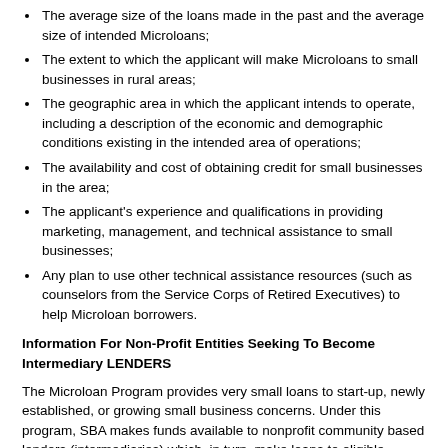The average size of the loans made in the past and the average size of intended Microloans;
The extent to which the applicant will make Microloans to small businesses in rural areas;
The geographic area in which the applicant intends to operate, including a description of the economic and demographic conditions existing in the intended area of operations;
The availability and cost of obtaining credit for small businesses in the area;
The applicant's experience and qualifications in providing marketing, management, and technical assistance to small businesses;
Any plan to use other technical assistance resources (such as counselors from the Service Corps of Retired Executives) to help Microloan borrowers.
Information For Non-Profit Entities Seeking To Become Intermediary LENDERS
The Microloan Program provides very small loans to start-up, newly established, or growing small business concerns. Under this program, SBA makes funds available to nonprofit community based lenders (intermediaries) which, in turn, make loans to eligible borrowers in amounts up to a maximum of $35,000. The average loan size is about $13,000. Applications are submitted to the local intermediary and all credit decisions